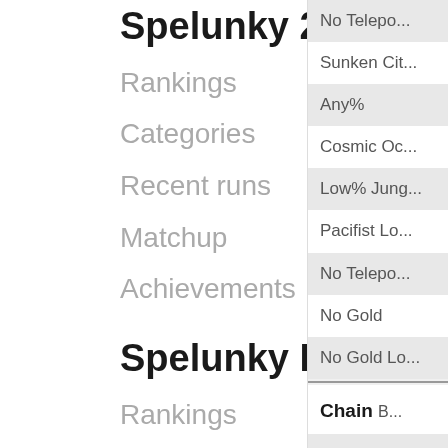Spelunky 2
Rankings
Categories
Recent runs
Matchup
Achievements
Spelunky HD
Rankings
Categories
Recent runs
Matchup
No Telepo...
Sunken Cit...
Any%
Cosmic Oc...
Low% Jung...
Pacifist Lo...
No Telepo...
No Gold
No Gold Lo...
Chain B...
Abzu%
Duat%
No Telepo...